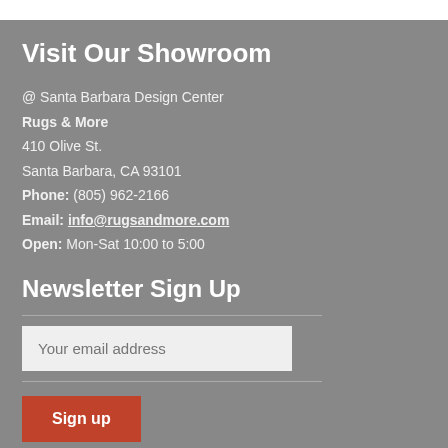Visit Our Showroom
@ Santa Barbara Design Center
Rugs & More
410 Olive St.
Santa Barbara, CA 93101
Phone: (805) 962-2166
Email: info@rugsandmore.com
Open: Mon-Sat 10:00 to 5:00
Newsletter Sign Up
Your email address
Sign up